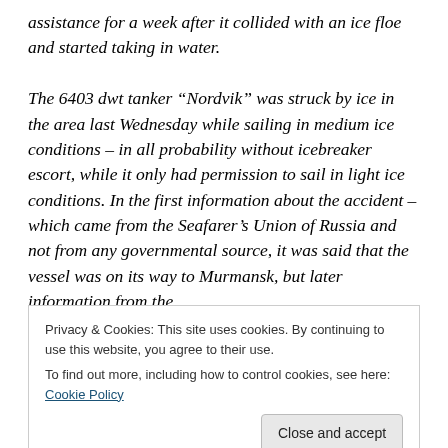assistance for a week after it collided with an ice floe and started taking in water.

The 6403 dwt tanker “Nordvik” was struck by ice in the area last Wednesday while sailing in medium ice conditions – in all probability without icebreaker escort, while it only had permission to sail in light ice conditions. In the first information about the accident – which came from the Seafarer’s Union of Russia and not from any governmental source, it was said that the vessel was on its way to Murmansk, but later information from the
Privacy & Cookies: This site uses cookies. By continuing to use this website, you agree to their use.
To find out more, including how to control cookies, see here: Cookie Policy
[Close and accept]
Ship-to-ship reloading of oil in ice conditions is considered